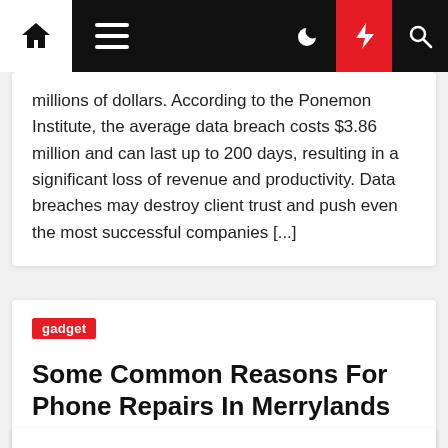Navigation bar with home, menu, dark mode, bolt, and search icons
millions of dollars. According to the Ponemon Institute, the average data breach costs $3.86 million and can last up to 200 days, resulting in a significant loss of revenue and productivity. Data breaches may destroy client trust and push even the most successful companies [...]
gadget
Some Common Reasons For Phone Repairs In Merrylands
Elva Mankin  9 months ago